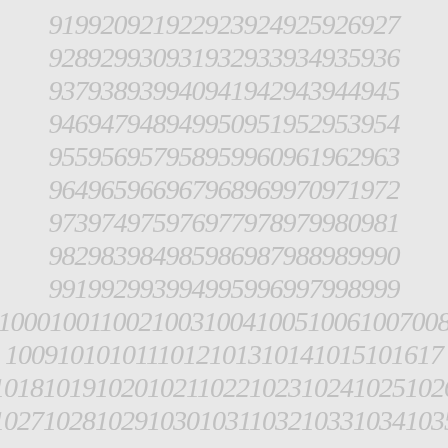919920921922923924925926927
928929930931932933934935936
937938939940941942943944945
946947948949950951952953954
955956957958959960961962963
964965966967968969970971972
973974975976977978979980981
982983984985986987988989990
991992993994995996997998999
100010011002100310041005100610071008
10091010101110121013101410151016 1017
101810191020102110221023102410251026
102710281029103010311032103310341035